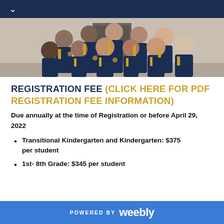[Figure (photo): Group photo of students in navy and gold school uniforms standing together in front of a door]
REGISTRATION FEE (CLICK HERE FOR PDF REGISTRATION FEE INFORMATION)
Due annually at the time of Registration or before April 29, 2022
Transitional Kindergarten and Kindergarten: $375 per student
1st- 8th Grade: $345 per student
POWERED BY weebly